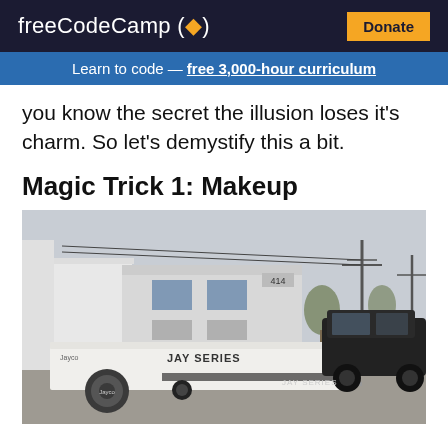freeCodeCamp (flame) Donate
Learn to code — free 3,000-hour curriculum
you know the secret the illusion loses it's charm. So let's demystify this a bit.
Magic Trick 1: Makeup
[Figure (photo): A white Jay Series popup camper trailer being towed by a dark SUV in a parking lot, with a commercial building in the background. The trailer has a spare tire cover with the Jayco logo, and the side reads JAY SERIES.]